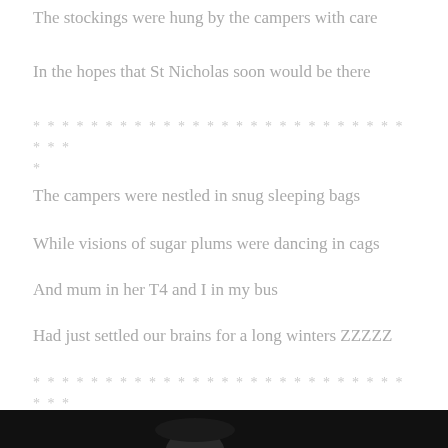The stockings were hung by the campers with care
In the hopes that St Nicholas soon would be there
* * * * * * * * * * * * * * * * * * * * * * * * * * * * *
*
The campers were nestled in snug sleeping bags
While visions of sugar plums were dancing in cags
And mum in her T4 and I in my bus
Had just settled our brains for a long winters ZZZZZ
* * * * * * * * * * * * * * * * * * * * * * * * * * * * *
*
[Figure (photo): Dark background photo with a person wearing a hat, partially visible at bottom of page]